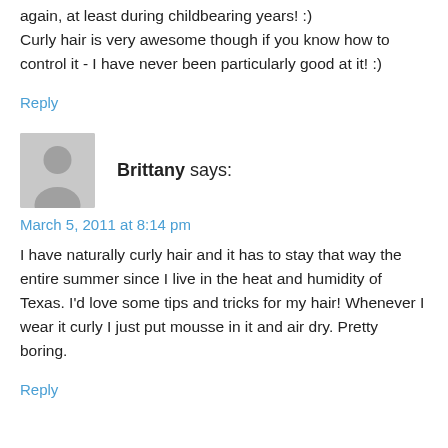again, at least during childbearing years! :) Curly hair is very awesome though if you know how to control it - I have never been particularly good at it! :)
Reply
[Figure (illustration): Generic user avatar: gray silhouette of a person on gray background]
Brittany says:
March 5, 2011 at 8:14 pm
I have naturally curly hair and it has to stay that way the entire summer since I live in the heat and humidity of Texas. I'd love some tips and tricks for my hair! Whenever I wear it curly I just put mousse in it and air dry. Pretty boring.
Reply